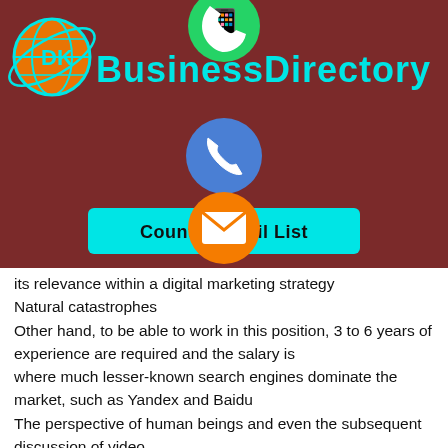[Figure (logo): DK Business Directory logo with globe icon and teal text on dark red background, with social media icons (WhatsApp, phone, email, LINE, Viber, close) overlaid in center column, and a cyan 'Country Email List' button]
its relevance within a digital marketing strategy
Natural catastrophes
Other hand, to be able to work in this position, 3 to 6 years of experience are required and the salary is
where much lesser-known search engines dominate the market, such as Yandex and Baidu
The perspective of human beings and even the subsequent discussion of video
young people to develop through industry-university cooperation and intern recruitment programs, sharing
Content that most attracts and